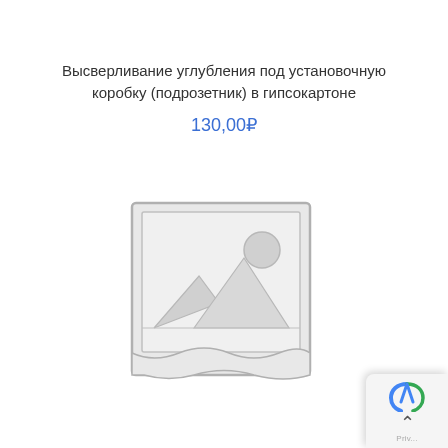Высверливание углубления под установочную коробку (подрозетник) в гипсокартоне
130,00₽
[Figure (illustration): Placeholder image icon showing a generic image symbol with a mountain landscape and sun in a rectangular frame with slightly torn/wavy border, rendered in light gray outline style.]